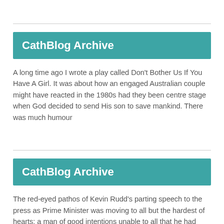CathBlog Archive
A long time ago I wrote a play called Don't Bother Us If You Have A Girl. It was about how an engaged Australian couple might have reacted in the 1980s had they been centre stage when God decided to send His son to save mankind. There was much humour
CathBlog Archive
The red-eyed pathos of Kevin Rudd's parting speech to the press as Prime Minister was moving to all but the hardest of hearts: a man of good intentions unable to all that he had hoped for reasons tied up with his personal limitations as a